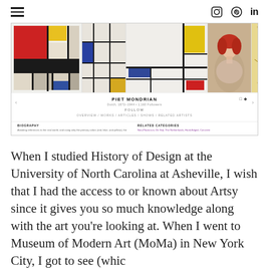Navigation bar with hamburger menu and social icons (Instagram, Pinterest, LinkedIn)
[Figure (screenshot): Screenshot of Artsy website showing Piet Mondrian artist page with artwork thumbnails (geometric abstract paintings in primary colors, a portrait, and a yellow abstract), artist name, dates, follower count, follow button, navigation links (Overview, Works, Articles, Shows, Related Artists), biography section, and related categories.]
When I studied History of Design at the University of North Carolina at Asheville, I wish that I had the access to or known about Artsy since it gives you so much knowledge along with the art you're looking at. When I went to Museum of Modern Art (MoMa) in New York City, I got to see (which